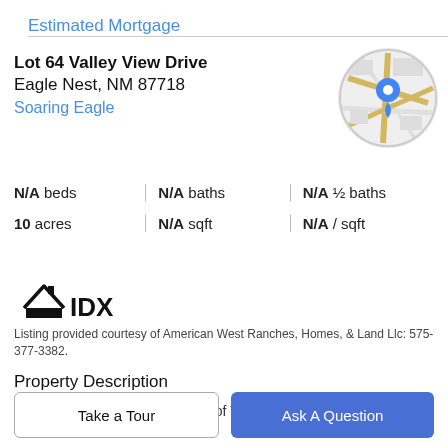Estimated Mortgage
Lot 64 Valley View Drive
Eagle Nest, NM 87718
Soaring Eagle
[Figure (map): Circular Google Maps thumbnail showing road map with a blue location pin marker]
N/A beds | N/A baths | N/A ½ baths
10 acres | N/A sqft | N/A / sqft
[Figure (logo): IDX logo — house roof outline with IDX text inside]
Listing provided courtesy of American West Ranches, Homes, & Land Llc: 575-377-3382.
Property Description
10 acre parcel on the north side of Valley View Drive and
Take a Tour
Ask A Question